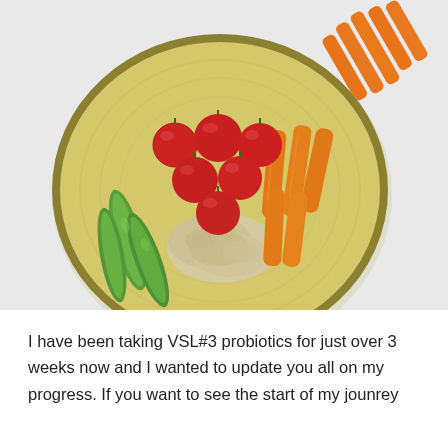[Figure (photo): Overhead photo of a yellow plate with cherry tomatoes, carrot sticks, green snap peas, and a dollop of hummus in the center. Additional carrot sticks are visible in the top right corner off the plate, on a light gray/white surface.]
I have been taking VSL#3 probiotics for just over 3 weeks now and I wanted to update you all on my progress.  If you want to see the start of my jounrey